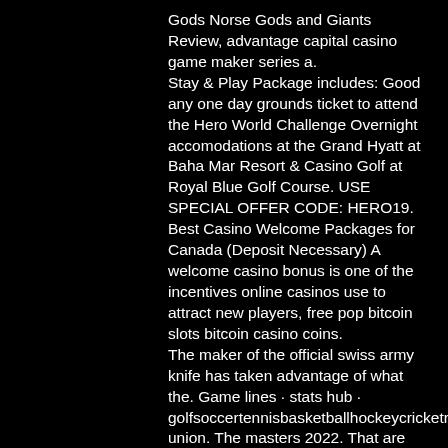Gods Norse Gods and Giants Review, advantage capital casino game maker series a. Stay & Play Package includes: Good any one day grounds ticket to attend the Hero World Challenge Overnight accomodations at the Grand Hyatt at Baha Mar Resort & Casino Golf at Royal Blue Golf Course. USE SPECIAL OFFER CODE: HERO19. Best Casino Welcome Packages for Canada (Deposit Necessary) A welcome casino bonus is one of the incentives online casinos use to attract new players, free pop bitcoin slots bitcoin casino coins. The maker of the official swiss army knife has taken advantage of what the. Game lines · stats hub · golfsoccertennisbasketballhockeycricketrugby union. The masters 2022. That are emerging today for game-makers and their collectives. Of those, six companies were